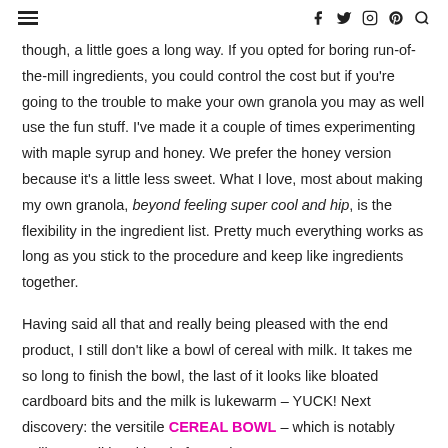≡  f  🐦  ⊙  ℗  🔍
though, a little goes a long way. If you opted for boring run-of-the-mill ingredients, you could control the cost but if you're going to the trouble to make your own granola you may as well use the fun stuff. I've made it a couple of times experimenting with maple syrup and honey. We prefer the honey version because it's a little less sweet. What I love, most about making my own granola, beyond feeling super cool and hip, is the flexibility in the ingredient list. Pretty much everything works as long as you stick to the procedure and keep like ingredients together.
Having said all that and really being pleased with the end product, I still don't like a bowl of cereal with milk. It takes me so long to finish the bowl, the last of it looks like bloated cardboard bits and the milk is lukewarm – YUCK! Next discovery: the versitile CEREAL BOWL – which is notably unlike a traditional bowl of cereal.